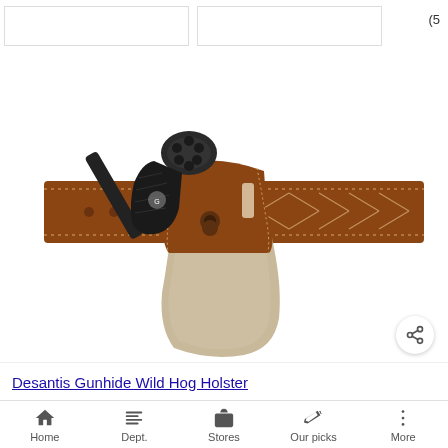[Figure (photo): A brown leather holster with tan suede body, holding a black revolver. The holster is attached to a brown leather belt with diamond stitching and decorative punched holes. The product is a Desantis Gunhide Wild Hog Holster.]
Desantis Gunhide Wild Hog Holster
Home   Dept.   Stores   Our picks   More